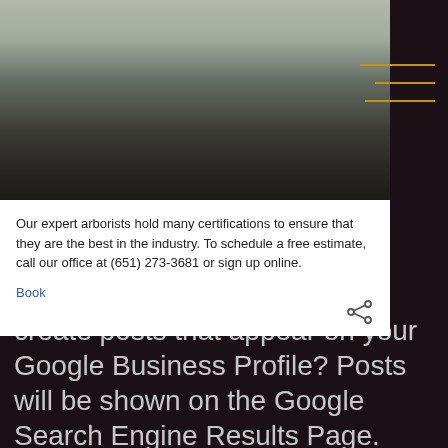[Figure (photo): Photo of an arborist working outdoors with equipment, boots visible, chain saw or similar tool visible at top]
Our expert arborists hold many certifications to ensure that they are the best in the industry. To schedule a free estimate, call our office at (651) 273-3681 or sign up online.
Book
Did you know that you can create posts that appear on your Google Business Profile? Posts will be shown on the Google Search Engine Results Page.
There are four post categories:
1. What's New